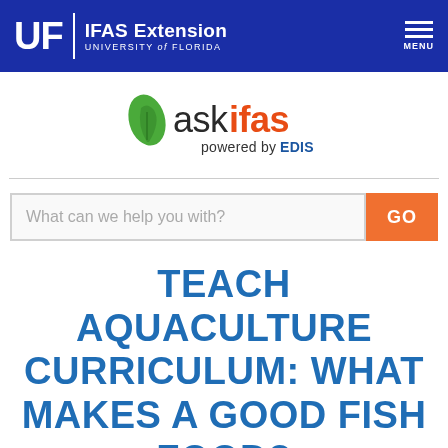UF | IFAS Extension UNIVERSITY of FLORIDA MENU
[Figure (logo): askifas powered by EDIS logo with green leaf]
[Figure (other): Search bar with placeholder 'What can we help you with?' and orange GO button]
TEACH AQUACULTURE CURRICULUM: WHAT MAKES A GOOD FISH FOOD?